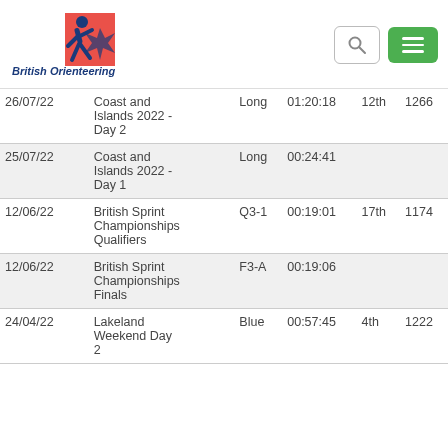[Figure (logo): British Orienteering logo with runner/orienteer graphic in red, white, blue and the text 'British Orienteering' in bold italic navy blue]
| Date | Event | Course | Time | Position | Points |
| --- | --- | --- | --- | --- | --- |
| 26/07/22 | Coast and Islands 2022 - Day 2 | Long | 01:20:18 | 12th | 1266 |
| 25/07/22 | Coast and Islands 2022 - Day 1 | Long | 00:24:41 |  |  |
| 12/06/22 | British Sprint Championships Qualifiers | Q3-1 | 00:19:01 | 17th | 1174 |
| 12/06/22 | British Sprint Championships Finals | F3-A | 00:19:06 |  |  |
| 24/04/22 | Lakeland Weekend Day 2 | Blue | 00:57:45 | 4th | 1222 |